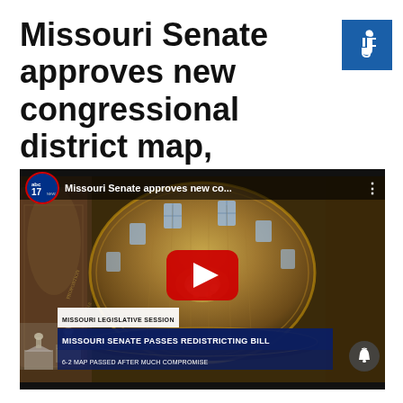Missouri Senate approves new congressional district map, breaking weeks-long impasse
[Figure (screenshot): ABC17 News video thumbnail showing the Missouri State Capitol dome interior (rotunda with chandelier and ornate ceiling), with video title 'Missouri Senate approves new co...' in the top bar. A YouTube-style red play button is centered. Lower third overlay reads: MISSOURI LEGISLATIVE SESSION / MISSOURI SENATE PASSES REDISTRICTING BILL / 6-2 MAP PASSED AFTER MUCH COMPROMISE]